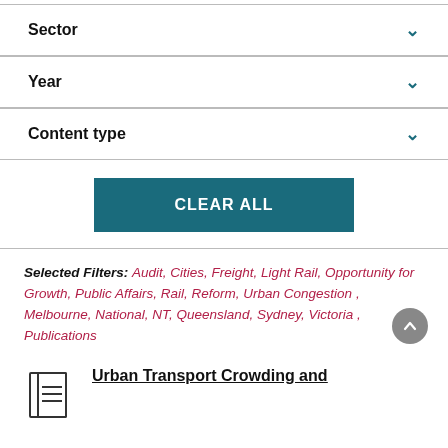Sector
Year
Content type
CLEAR ALL
Selected Filters:  Audit, Cities, Freight, Light Rail, Opportunity for Growth, Public Affairs, Rail, Reform, Urban Congestion , Melbourne, National, NT, Queensland, Sydney, Victoria , Publications
Urban Transport Crowding and